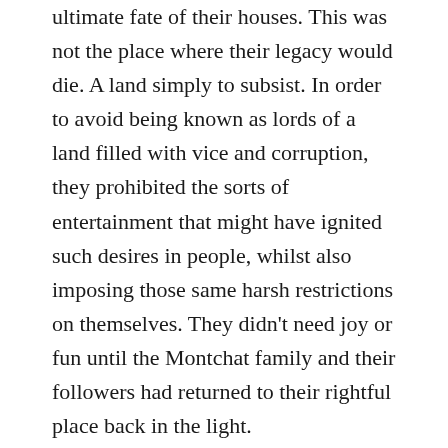ultimate fate of their houses. This was not the place where their legacy would die. A land simply to subsist. In order to avoid being known as lords of a land filled with vice and corruption, they prohibited the sorts of entertainment that might have ignited such desires in people, whilst also imposing those same harsh restrictions on themselves. They didn't need joy or fun until the Montchat family and their followers had returned to their rightful place back in the light.
But, that wait soon seemed to be eternal.
A hundred years later, a certain Prince was born to the royal family. An unfortunate Prince, who was barely known to anyone and kept from the public eye.